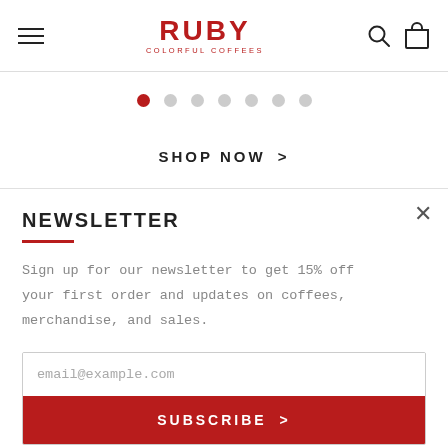RUBY COLORFUL COFFEES — navigation header with hamburger menu, logo, search and cart icons
[Figure (other): Carousel pagination dots: 7 dots, first one active (red), rest grey]
SHOP NOW >
NEWSLETTER
Sign up for our newsletter to get 15% off your first order and updates on coffees, merchandise, and sales.
email@example.com
SUBSCRIBE >